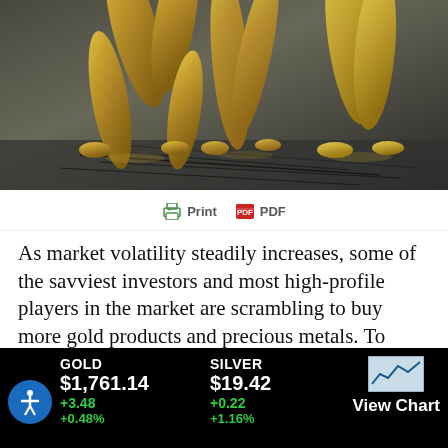[Figure (photo): Gold metallic figurines/statues with legs visible, walking on a reflective surface with dark artistic background.]
Print   PDF
As market volatility steadily increases, some of the savviest investors and most high-profile players in the market are scrambling to buy more gold products and precious metals. To date, the price of gold has surged 27 percent in 2016, outperforming stocks and many other
GOLD $1,761.14 +3.48 +0.48%
SILVER $19.42 +0.22 +1.16%
View Chart